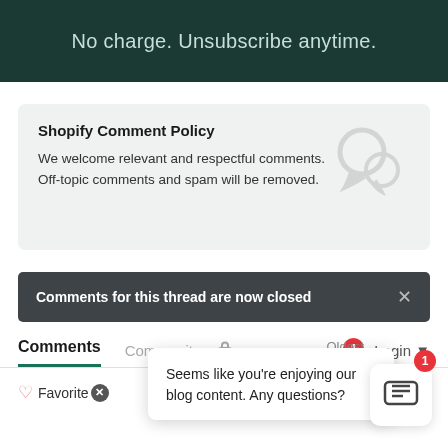No charge. Unsubscribe anytime.
Shopify Comment Policy
We welcome relevant and respectful comments. Off-topic comments and spam will be removed.
Comments for this thread are now closed
Comments  Community  Login
Favorite
Seems like you're enjoying our blog content. Any questions?